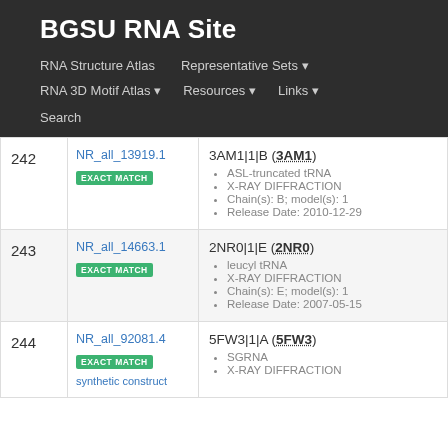BGSU RNA Site
RNA Structure Atlas  Representative Sets  RNA 3D Motif Atlas  Resources  Links  Search
| # | ID | Details |
| --- | --- | --- |
| 242 | NR_all_13919.1
EXACT MATCH | 3AM1|1|B (3AM1)
• ASL-truncated tRNA
• X-RAY DIFFRACTION
• Chain(s): B; model(s): 1
• Release Date: 2010-12-29 |
| 243 | NR_all_14663.1
EXACT MATCH | 2NR0|1|E (2NR0)
• leucyl tRNA
• X-RAY DIFFRACTION
• Chain(s): E; model(s): 1
• Release Date: 2007-05-15 |
| 244 | NR_all_92081.4
EXACT MATCH
synthetic construct | 5FW3|1|A (5FW3)
• SGRNA
• X-RAY DIFFRACTION |